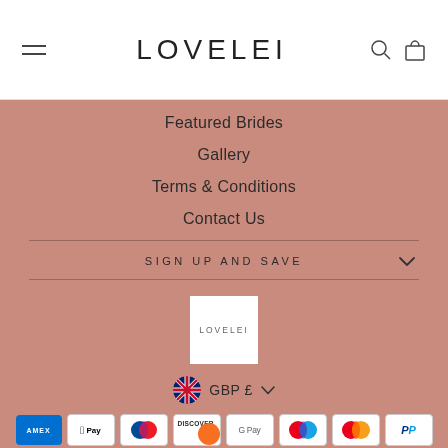LOVELEI
Featured Brides
Gallery
Terms & Conditions
Contact Us
SIGN UP AND SAVE
[Figure (logo): LOVELEI logo on white background]
GBP £
[Figure (infographic): Payment method icons: American Express, Apple Pay, Diners Club, Discover, Google Pay, Maestro, Mastercard, PayPal]